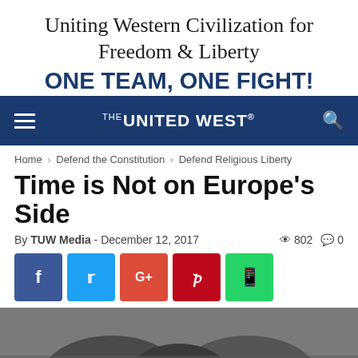Uniting Western Civilization for Freedom & Liberty
ONE TEAM, ONE FIGHT!
[Figure (screenshot): Navigation bar with hamburger menu, The United West logo, and search icon on dark blue background]
Home › Defend the Constitution › Defend Religious Liberty
Time is Not on Europe's Side
By TUW Media - December 12, 2017  👁 802  💬 0
[Figure (infographic): Social share buttons: Facebook (blue), Twitter (light blue), Google+ (red-orange), Pinterest (red), WhatsApp (green)]
[Figure (photo): Partial photo of people wearing dark clothing, cropped at bottom of page]